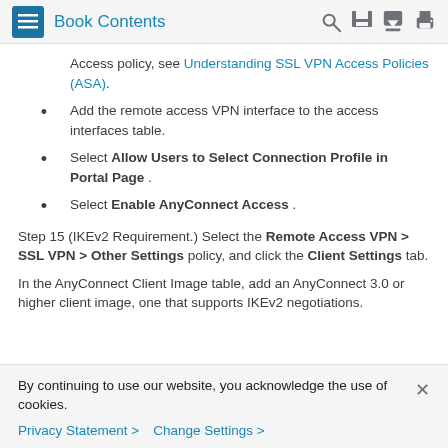Book Contents
Access policy, see Understanding SSL VPN Access Policies (ASA).
Add the remote access VPN interface to the access interfaces table.
Select Allow Users to Select Connection Profile in Portal Page .
Select Enable AnyConnect Access .
Step 15 (IKEv2 Requirement.) Select the Remote Access VPN > SSL VPN > Other Settings policy, and click the Client Settings tab.
In the AnyConnect Client Image table, add an AnyConnect 3.0 or higher client image, one that supports IKEv2 negotiations.
By continuing to use our website, you acknowledge the use of cookies.
Privacy Statement > Change Settings >